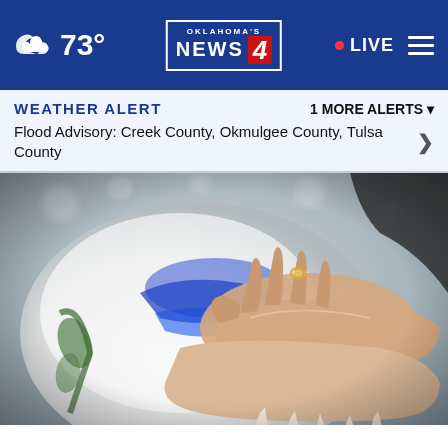73° | Oklahoma's News 4 | LIVE
WEATHER ALERT   1 MORE ALERTS ▾
Flood Advisory: Creek County, Okmulgee County, Tulsa County
[Figure (photo): Close-up photo of two hands resting on a white wedding bouquet with blue ribbon accents. One hand has a wedding ring and long manicured nails.]